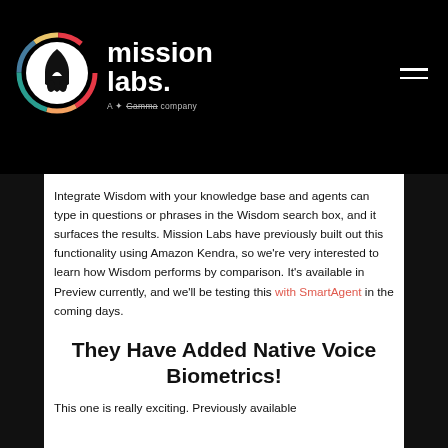mission labs. A Gamma company
Integrate Wisdom with your knowledge base and agents can type in questions or phrases in the Wisdom search box, and it surfaces the results. Mission Labs have previously built out this functionality using Amazon Kendra, so we're very interested to learn how Wisdom performs by comparison. It's available in Preview currently, and we'll be testing this with SmartAgent in the coming days.
They Have Added Native Voice Biometrics!
This one is really exciting. Previously available